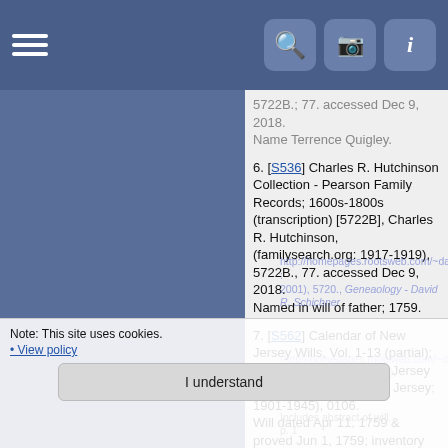Navigation bar with hamburger menu and icons
5722B.; 77. accessed Dec 9, 2018. Name Terrence Quigley.
6. [S536] Charles R. Hutchinson Collection - Pearson Family Records; 1600s-1800s (transcription) [5722B], Charles R. Hutchinson, (familysearch.org: 1917-1919), 5722B., 77. accessed Dec 9, 2018. Named in will of father; 1759.
7. [S562] Calendar of New Jersey Wills, Vol. 1-13 (partial); 1670-1817 [0106], New Jersey Historical Society, (New Jersey; 1901-1945), 0106. Will dated Apr 11, 1759 & proved Jun 1, 1759; inventory Jun 1, 1759.
8. [S532] Family History Notes on the Quigleys [0225], Maude Quigley, (bef. 1989), 0225. Will probated Apr 15, 1759; Burlington Co., NJ.
9. [S117] Family Group Sheet - Philip Quigley Report; 2001 [5720], Schichner, David R., (David Schichner. Geneaology - David R. Schichner. http://homepages.rootsweb.com/~davidca/index.htm : 2001), 5720., Geneaology - David R. Schichner (http://homepages.rootsweb.com/~davidca/index.htm accessed Nov 19, 2018). Includes abstract of will. p. 1.
Note: This site uses cookies.
• View policy
I understand